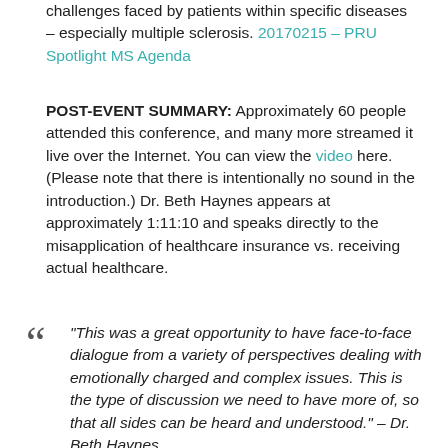challenges faced by patients within specific diseases – especially multiple sclerosis. 20170215 – PRU Spotlight MS Agenda
POST-EVENT SUMMARY: Approximately 60 people attended this conference, and many more streamed it live over the Internet. You can view the video here. (Please note that there is intentionally no sound in the introduction.) Dr. Beth Haynes appears at approximately 1:11:10 and speaks directly to the misapplication of healthcare insurance vs. receiving actual healthcare.
“This was a great opportunity to have face-to-face dialogue from a variety of perspectives dealing with emotionally charged and complex issues. This is the type of discussion we need to have more of, so that all sides can be heard and understood.” – Dr. Beth Haynes